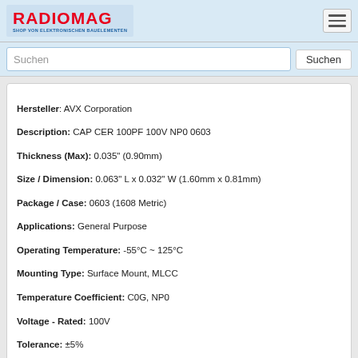RADIOMAG — SHOP VON ELEKTRONISCHEN BAUELEMENTEN
Suchen
Hersteller: AVX Corporation
Description: CAP CER 100PF 100V NP0 0603
Thickness (Max): 0.035" (0.90mm)
Size / Dimension: 0.063" L x 0.032" W (1.60mm x 0.81mm)
Package / Case: 0603 (1608 Metric)
Applications: General Purpose
Operating Temperature: -55°C ~ 125°C
Mounting Type: Surface Mount, MLCC
Temperature Coefficient: C0G, NP0
Voltage - Rated: 100V
Tolerance: ±5%
Capacitance: 100pF
auf Bestellung 11 Stücke
Lieferzeit 21-28 Tag (e)
kaufen
06031A150JAT4A